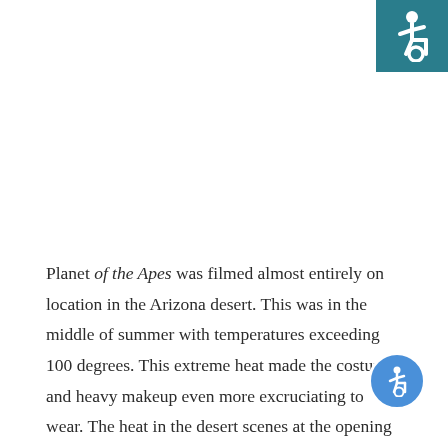[Figure (logo): Wheelchair accessibility icon — white figure in wheelchair on teal/dark cyan background square in top-right corner]
Planet of the Apes was filmed almost entirely on location in the Arizona desert. This was in the middle of summer with temperatures exceeding 100 degrees. This extreme heat made the costumes and heavy makeup even more excruciating to wear. The heat in the desert scenes at the opening of the film proved so intense that many of the cast and crew fainted, including director Franklin J. Schaffner
[Figure (logo): Blue circle with white wheelchair accessibility person icon — accessibility widget button in bottom-right corner]